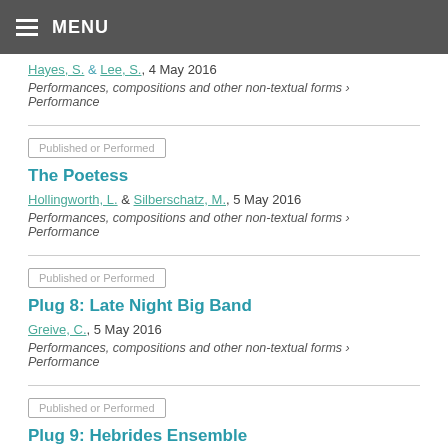MENU
Hayes, S. & Lee, S., 4 May 2016
Performances, compositions and other non-textual forms › Performance
Published or Performed
The Poetess
Hollingworth, L. & Silberschatz, M., 5 May 2016
Performances, compositions and other non-textual forms › Performance
Published or Performed
Plug 8: Late Night Big Band
Greive, C., 5 May 2016
Performances, compositions and other non-textual forms › Performance
Published or Performed
Plug 9: Hebrides Ensemble